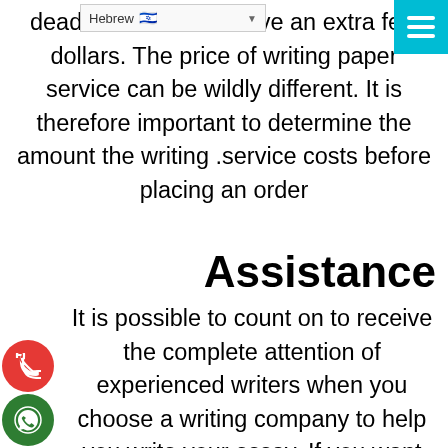[Figure (screenshot): Hebrew language dropdown selector with Israeli flag icon and dropdown arrow]
[Figure (other): Teal/cyan hamburger menu icon (three horizontal lines) in top-right corner]
deadlines. You can save an extra few dollars. The price of writing paper service can be wildly different. It is therefore important to determine the amount the writing service costs before placing an order.
Assistance
It is possible to count on to receive the complete attention of experienced writers when you choose a writing company to help you write your essay. If you want to discuss the topic or instructions, as well as any other style or design nuances it is possible to reach out to
[Figure (other): Red circular phone/call button on the left side]
[Figure (other): Dark green circular WhatsApp button on the left side]